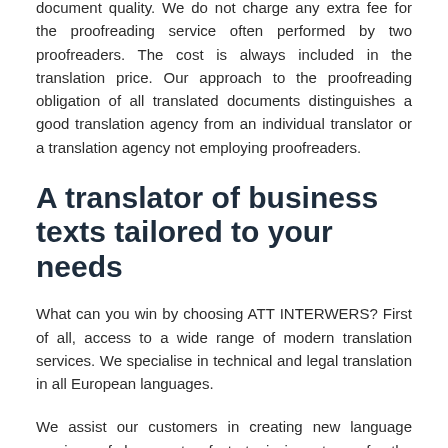document quality. We do not charge any extra fee for the proofreading service often performed by two proofreaders. The cost is always included in the translation price. Our approach to the proofreading obligation of all translated documents distinguishes a good translation agency from an individual translator or a translation agency not employing proofreaders.
A translator of business texts tailored to your needs
What can you win by choosing ATT INTERWERS? First of all, access to a wide range of modern translation services. We specialise in technical and legal translation in all European languages.
We assist our customers in creating new language versions of documents of strategic importance for the future of their